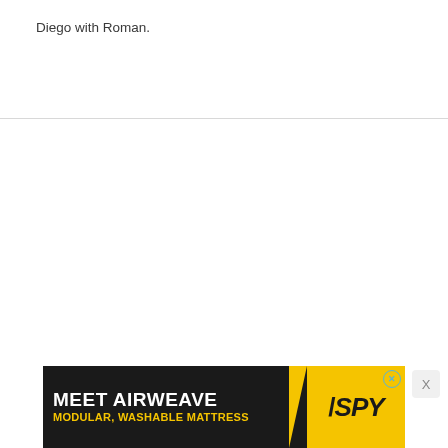Diego with Roman.
[Figure (other): Advertisement banner: MEET AIRWEAVE / MODULAR, WASHABLE MATTRESS with SPY logo on yellow background]